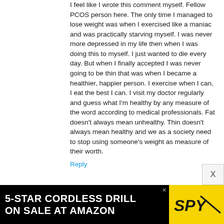I feel like I wrote this comment myself. Fellow PCOS person here. The only time I managed to lose weight was when I exercised like a maniac and was practically starving myself. I was never more depressed in my life then when I was doing this to myself. I just wanted to die every day. But when I finally accepted I was never going to be thin that was when I became a healthier, happier person. I exercise when I can, I eat the best I can. I visit my doctor regularly and guess what I'm healthy by any measure of the word according to medical professionals. Fat doesn't always mean unhealthy. Thin doesn't always mean healthy and we as a society need to stop using someone's weight as measure of their worth.
Reply
[Figure (other): Advertisement banner for '5-Star Cordless Drill on Sale at Amazon' with SPY logo on yellow background]